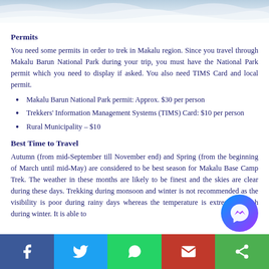[Figure (photo): Snowy mountain landscape, partial view at top of page]
Permits
You need some permits in order to trek in Makalu region. Since you travel through Makalu Barun National Park during your trip, you must have the National Park permit which you need to display if asked. You also need TIMS Card and local permit.
Makalu Barun National Park permit: Approx. $30 per person
Trekkers’ Information Management Systems (TIMS) Card: $10 per person
Rural Municipality – $10
Best Time to Travel
Autumn (from mid-September till November end) and Spring (from the beginning of March until mid-May) are considered to be best season for Makalu Base Camp Trek. The weather in these months are likely to be finest and the skies are clear during these days. Trekking during monsoon and winter is not recommended as the visibility is poor during rainy days whereas the temperature is extremely harsh during winter. It is able to
[Figure (other): Messenger chat bubble icon, bottom right]
Facebook | Twitter | WhatsApp | Email | Share